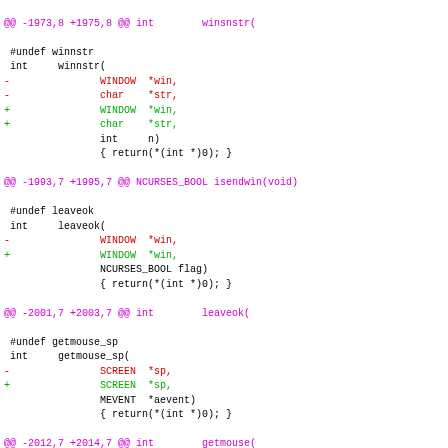@@ -1973,8 +1975,8 @@ int        winsnstr(
#undef winnstr
 int     winnstr(
-               WINDOW  *win,
-               char    *str,
+               WINDOW  *win,
+               char    *str,
                int     n)
                { return(*(int *)0); }
@@ -1993,7 +1995,7 @@ NCURSES_BOOL isendwin(void)
#undef leaveok
 int     leaveok(
-               WINDOW  *win,
+               WINDOW  *win,
                NCURSES_BOOL flag)
                { return(*(int *)0); }
@@ -2001,7 +2003,7 @@ int        leaveok(
#undef getmouse_sp
 int     getmouse_sp(
-               SCREEN  *sp,
+               SCREEN  *sp,
                MEVENT  *aevent)
                { return(*(int *)0); }
@@ -2012,7 +2014,7 @@ int        getmouse(
#undef ungetmouse_sp